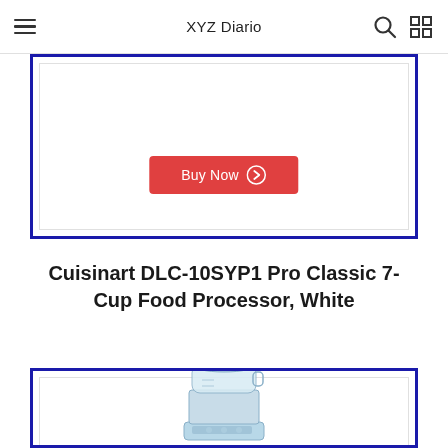XYZ Diario
[Figure (other): Buy Now button (red) with circle arrow icon, inside a blue-bordered product card (partially visible at top)]
Cuisinart DLC-10SYP1 Pro Classic 7-Cup Food Processor, White
[Figure (photo): Cuisinart food processor product image inside blue-bordered card, partially cut off at bottom of page]